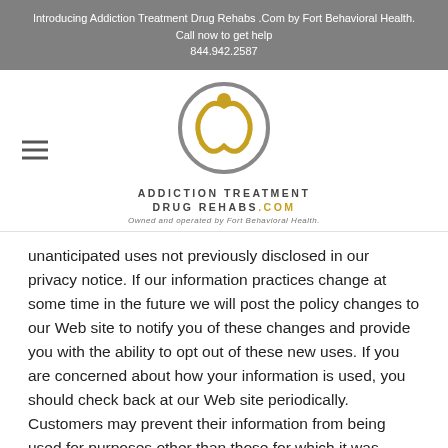Introducing Addiction Treatment Drug Rehabs .Com by Fort Behavioral Health. Call now to get help 844.942.2587
[Figure (logo): Addiction Treatment Drug Rehabs .com logo — circular icon with a stylized figure and curved arms, with text ADDICTION TREATMENT DRUG REHABS.COM below and tagline 'Owned and operated by Fort Behavioral Health.']
unanticipated uses not previously disclosed in our privacy notice. If our information practices change at some time in the future we will post the policy changes to our Web site to notify you of these changes and provide you with the ability to opt out of these new uses. If you are concerned about how your information is used, you should check back at our Web site periodically. Customers may prevent their information from being used for purposes other than those for which it was originally collected by calling us at the number provided above.